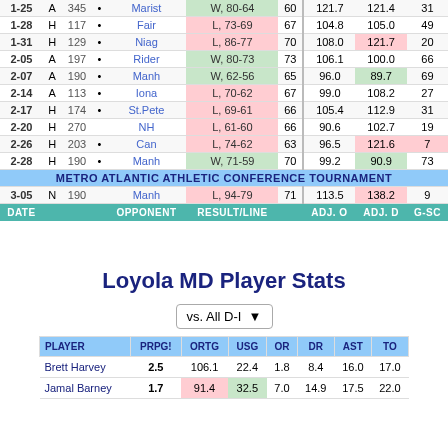| DATE |  |  | OPPONENT | RESULT/LINE |  | ADJ. O | ADJ. D | G-SC |
| --- | --- | --- | --- | --- | --- | --- | --- | --- |
| 1-25 | A | 345 | • | Marist | W, 80-64 | 60 | 121.7 | 121.4 | 31 |
| 1-28 | H | 117 | • | Fair | L, 73-69 | 67 | 104.8 | 105.0 | 49 |
| 1-31 | H | 129 | • | Niag | L, 86-77 | 70 | 108.0 | 121.7 | 20 |
| 2-05 | A | 197 | • | Rider | W, 80-73 | 73 | 106.1 | 100.0 | 66 |
| 2-07 | A | 190 | • | Manh | W, 62-56 | 65 | 96.0 | 89.7 | 69 |
| 2-14 | A | 113 | • | Iona | L, 70-62 | 67 | 99.0 | 108.2 | 27 |
| 2-17 | H | 174 | • | St.Pete | L, 69-61 | 66 | 105.4 | 112.9 | 31 |
| 2-20 | H | 270 |  | NH | L, 61-60 | 66 | 90.6 | 102.7 | 19 |
| 2-26 | H | 203 | • | Can | L, 74-62 | 63 | 96.5 | 121.6 | 7 |
| 2-28 | H | 190 | • | Manh | W, 71-59 | 70 | 99.2 | 90.9 | 73 |
| METRO ATLANTIC ATHLETIC CONFERENCE TOURNAMENT |
| 3-05 | N | 190 |  | Manh | L, 94-79 | 71 | 113.5 | 138.2 | 9 |
Loyola MD Player Stats
| PLAYER | PRPG! | ORTG | USG | OR | DR | AST | TO |
| --- | --- | --- | --- | --- | --- | --- | --- |
| Brett Harvey | 2.5 | 106.1 | 22.4 | 1.8 | 8.4 | 16.0 | 17.0 |
| Jamal Barney | 1.7 | 91.4 | 32.5 | 7.0 | 14.9 | 17.5 | 22.0 |